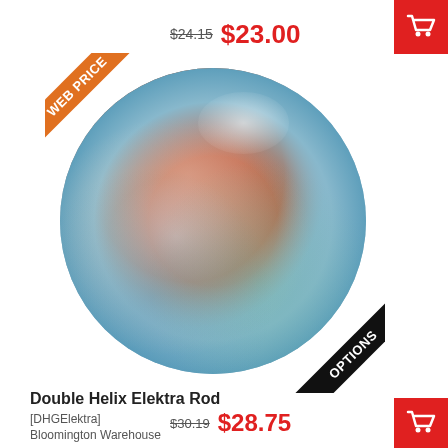$24.15  $23.00
[Figure (photo): A glass marble or art glass orb with swirling colors of red, orange, blue, teal, and white, displayed with a 'WEB PRICE' orange banner badge in the top-left and an 'OPTIONS' black banner badge in the bottom-right.]
Double Helix Elektra Rod
[DHGElektra]
Bloomington Warehouse
$30.19  $28.75